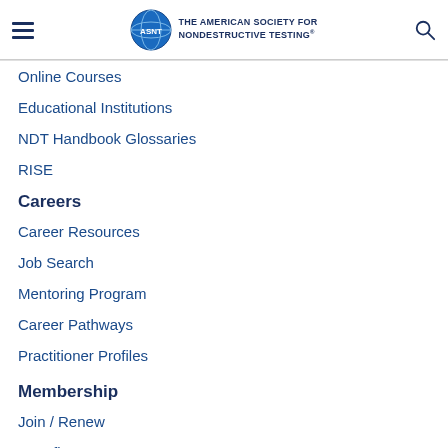ASNT - THE AMERICAN SOCIETY FOR NONDESTRUCTIVE TESTING
Online Courses
Educational Institutions
NDT Handbook Glossaries
RISE
Careers
Career Resources
Job Search
Mentoring Program
Career Pathways
Practitioner Profiles
Membership
Join / Renew
Benefits